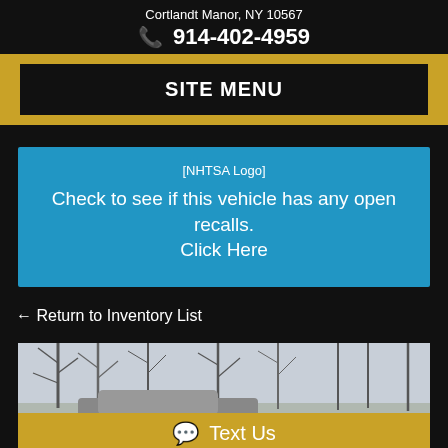Cortlandt Manor, NY 10567
☎ 914-402-4959
SITE MENU
[Figure (other): NHTSA logo placeholder image with alt text 'NHTSA Logo']
Check to see if this vehicle has any open recalls.
Click Here
← Return to Inventory List
[Figure (photo): Outdoor photo of trees with bare branches in winter and a partial view of a vehicle, with a gold 'Text Us' button overlay at the bottom]
Text Us